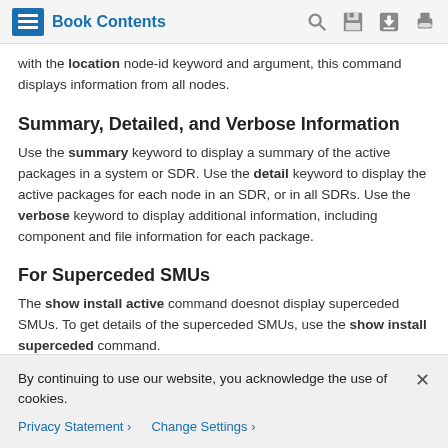Book Contents
with the location node-id keyword and argument, this command displays information from all nodes.
Summary, Detailed, and Verbose Information
Use the summary keyword to display a summary of the active packages in a system or SDR. Use the detail keyword to display the active packages for each node in an SDR, or in all SDRs. Use the verbose keyword to display additional information, including component and file information for each package.
For Superceded SMUs
The show install active command doesnot display superceded SMUs. To get details of the superceded SMUs, use the show install superceded command.
By continuing to use our website, you acknowledge the use of cookies.
Privacy Statement > Change Settings >